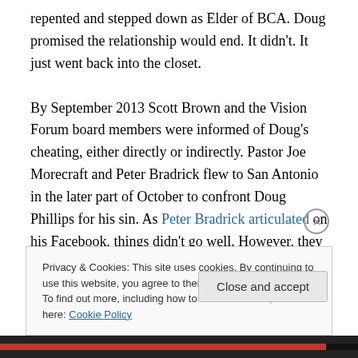repented and stepped down as Elder of BCA. Doug promised the relationship would end. It didn't. It just went back into the closet.

By September 2013 Scott Brown and the Vision Forum board members were informed of Doug's cheating, either directly or indirectly. Pastor Joe Morecraft and Peter Bradrick flew to San Antonio in the later part of October to confront Doug Phillips for his sin. As Peter Bradrick articulated on his Facebook, things didn't go well. However, they did go exactly as anyone should expect
Privacy & Cookies: This site uses cookies. By continuing to use this website, you agree to their use.
To find out more, including how to control cookies, see here: Cookie Policy
Close and accept